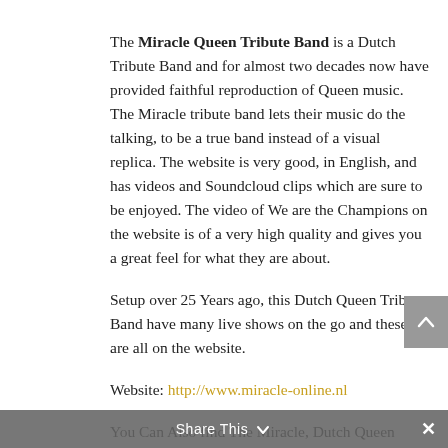The Miracle Queen Tribute Band is a Dutch Tribute Band and for almost two decades now have provided faithful reproduction of Queen music. The Miracle tribute band lets their music do the talking, to be a true band instead of a visual replica. The website is very good, in English, and has videos and Soundcloud clips which are sure to be enjoyed. The video of We are the Champions on the website is of a very high quality and gives you a great feel for what they are about.
Setup over 25 Years ago, this Dutch Queen Tribute Band have many live shows on the go and these are all on the website.
Website: http://www.miracle-online.nl
You Can Also find The Miracle, Dutch Queen Tribute Band, on social media on Instagram, Facebook, YouTube, Soundcloud and Twitter with links